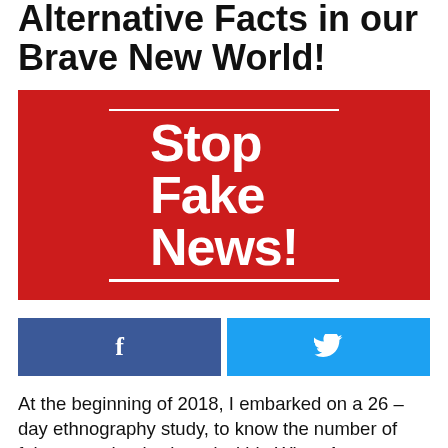Alternative Facts in our Brave New World!
[Figure (illustration): Red background image with white horizontal lines above and below bold white text reading 'Stop Fake News!']
[Figure (infographic): Social media share buttons: Facebook (dark blue with 'f' icon) and Twitter (cyan/light blue with bird icon)]
At the beginning of 2018, I embarked on a 26 – day ethnography study, to know the number of fake news that is shared within WhatsApp